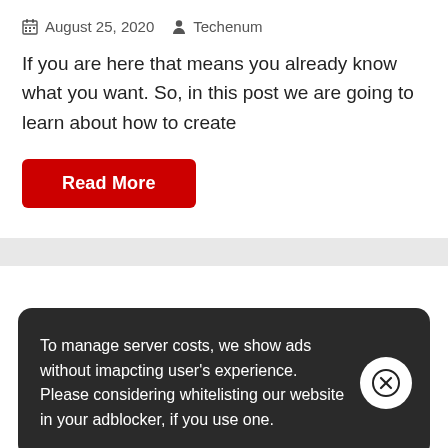August 25, 2020  Techenum
If you are here that means you already know what you want. So, in this post we are going to learn about how to create
[Figure (other): Red 'Read More' button]
To manage server costs, we show ads without imapcting user's experience. Please considering whitelisting our website in your adblocker, if you use one.